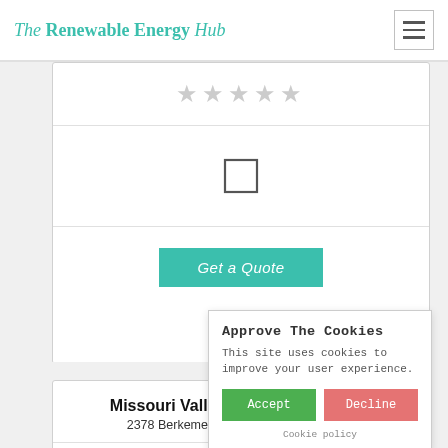The Renewable Energy Hub
[Figure (screenshot): Star rating row with 5 empty/grey stars]
[Figure (screenshot): Checkbox UI element]
Get a Quote
Missouri Valley Renewable Energy
2378 Berkemeyer Road,Hermann, 65041
178...
[Figure (screenshot): Star rating row with 5 empty/grey stars]
Approve The Cookies
This site uses cookies to improve your user experience.
Accept
Decline
Cookie policy